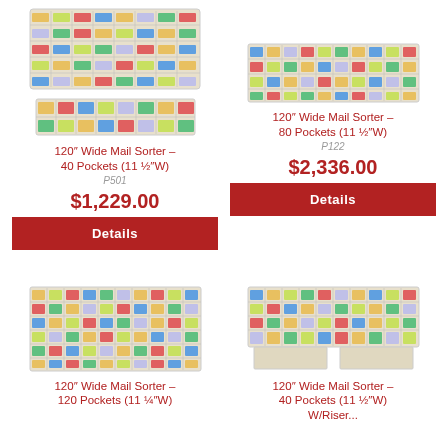[Figure (photo): 120 inch wide mail sorter with 40 pockets, large unit top left]
[Figure (photo): 120 inch wide mail sorter with 40 pockets, smaller unit below]
[Figure (photo): 120 inch wide mail sorter with 80 pockets, right column]
120″ Wide Mail Sorter – 40 Pockets (11 ½″W)
P501
$1,229.00
Details
120″ Wide Mail Sorter – 80 Pockets (11 ½″W)
P122
$2,336.00
Details
[Figure (photo): 120 inch wide mail sorter with 120 pockets bottom left]
[Figure (photo): 120 inch wide mail sorter with 40 pockets with riser/base bottom right]
120″ Wide Mail Sorter – 120 Pockets (11 ¼″W)
120″ Wide Mail Sorter – 40 Pockets (11 ½″W) W/Riser...